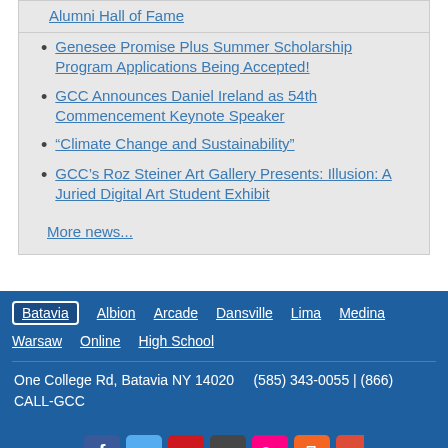Alumni Hall of Fame
Genesee Promise Plus Summer Scholarship Program Applications Being Accepted!
GCC Announces Daniel Ireland as 54th Commencement Keynote Speaker
“Climate Change and Sustainability”
GCC’s Roz Steiner Art Gallery Presents: Illusion: A Juried Digital Art Student Exhibit
More news...
Batavia  Albion  Arcade  Dansville  Lima  Medina  Warsaw  Online  High School
One College Rd, Batavia NY 14020   (585) 343-0055 | (866) CALL-GCC